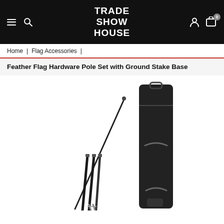TRADE SHOW HOUSE
Home | Flag Accessories |
Feather Flag Hardware Pole Set with Ground Stake Base
[Figure (photo): Product photo showing feather flag hardware pole set components (multiple black pole sections and a small ground stake) alongside a black carrying bag/case, on a white background.]